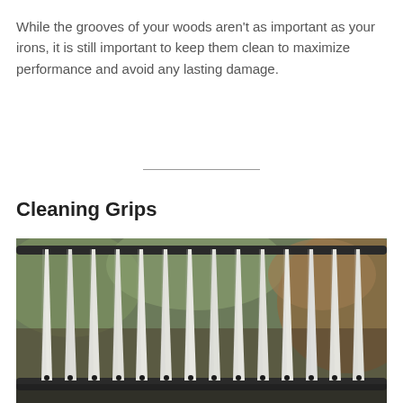While the grooves of your woods aren't as important as your irons, it is still important to keep them clean to maximize performance and avoid any lasting damage.
Cleaning Grips
[Figure (photo): Close-up photo of white golf grips arranged vertically in a metal drying rack, with a blurred green and brown background.]